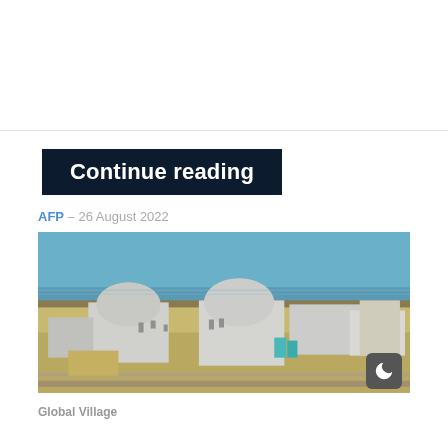Continue reading
AFP - 26 August 2022
[Figure (photo): Aerial view of a nuclear power plant with two dome-shaped reactor buildings near a coastline with blue sea in the background. Arid landscape surrounds the facility.]
Global Village